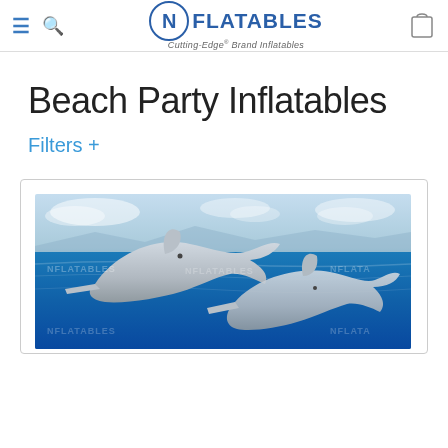NFlatables - Cutting-Edge Brand Inflatables
Beach Party Inflatables
Filters +
[Figure (photo): Two dolphins jumping over blue ocean water with sky and clouds in the background. NFlatables watermark visible.]